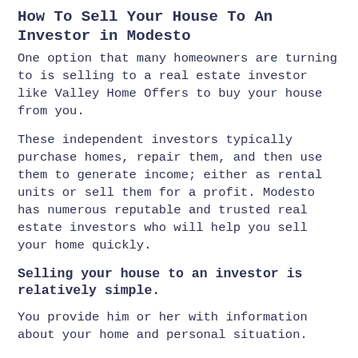How To Sell Your House To An Investor in Modesto
One option that many homeowners are turning to is selling to a real estate investor like Valley Home Offers to buy your house from you.
These independent investors typically purchase homes, repair them, and then use them to generate income; either as rental units or sell them for a profit. Modesto has numerous reputable and trusted real estate investors who will help you sell your home quickly.
Selling your house to an investor is relatively simple.
You provide him or her with information about your home and personal situation.
The investor will then inspect the home and